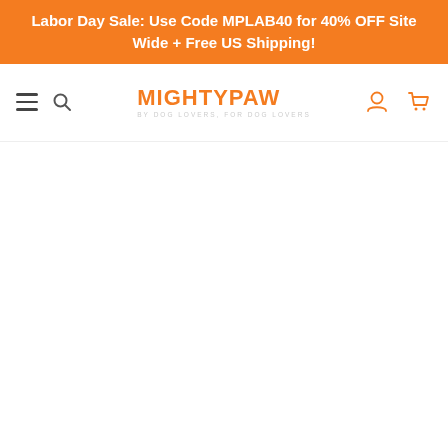Labor Day Sale: Use Code MPLAB40 for 40% OFF Site Wide + Free US Shipping!
[Figure (logo): MightyPaw logo with navigation bar including hamburger menu, search icon, user icon, and cart icon]